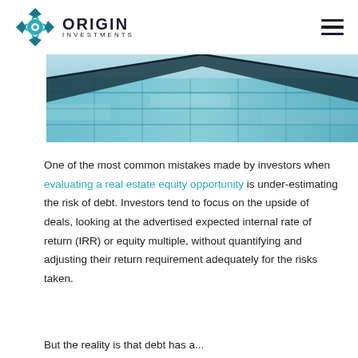Origin Investments
[Figure (photo): Modern glass building facade with blue-teal reflective glass panels and angular roof line, viewed from below]
One of the most common mistakes made by investors when evaluating a real estate equity opportunity is under-estimating the risk of debt. Investors tend to focus on the upside of deals, looking at the advertised expected internal rate of return (IRR) or equity multiple, without quantifying and adjusting their return requirement adequately for the risks taken.
But the reality is that debt has a...